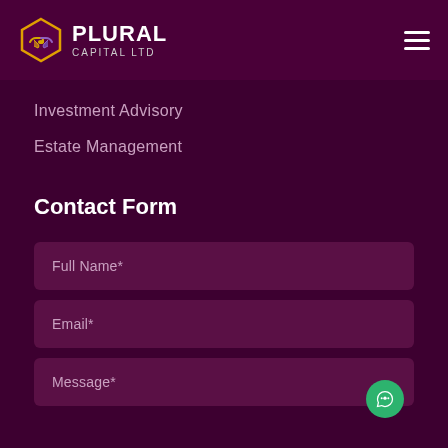PLURAL CAPITAL LTD
Investment Advisory
Estate Management
Contact Form
Full Name*
Email*
Message*